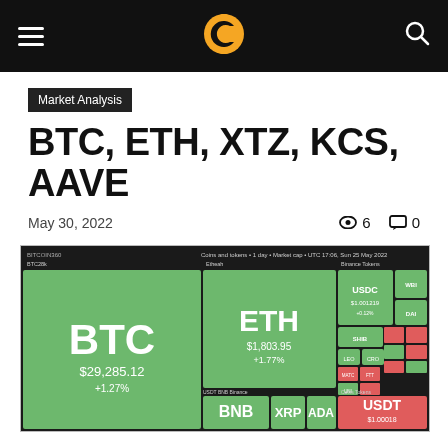Market Analysis — BTC, ETH, XTZ, KCS, AAVE — May 30, 2022
Market Analysis
BTC, ETH, XTZ, KCS, AAVE
May 30, 2022  👁 6  💬 0
[Figure (screenshot): BITCOIN360 crypto market heatmap screenshot showing BTC at $29,285.12, ETH at $1,803.95 +1.77%, USDC at $1.001219, USDT at $1.00018, BNB, XRP, ADA, and other tokens displayed as colored tiles in green and red.]